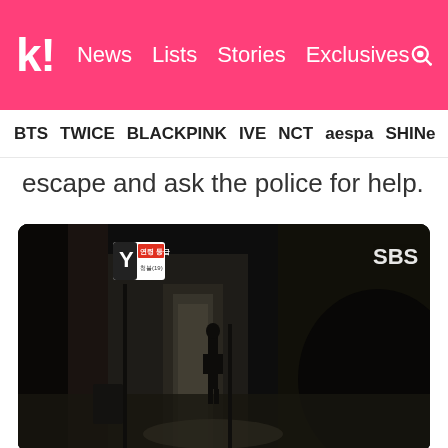k! News  Lists  Stories  Exclusives  [search]
BTS  TWICE  BLACKPINK  IVE  NCT  aespa  SHINee
escape and ask the police for help.
[Figure (screenshot): Dark nighttime alley scene from a Korean drama on SBS channel. A lone figure stands in a dimly lit alley between dark buildings. The SBS logo appears in the top right corner and a Y-rating content advisory box appears in the top left.]
When the police arrived on the scene, the zombie man threw himself off and stripped while...